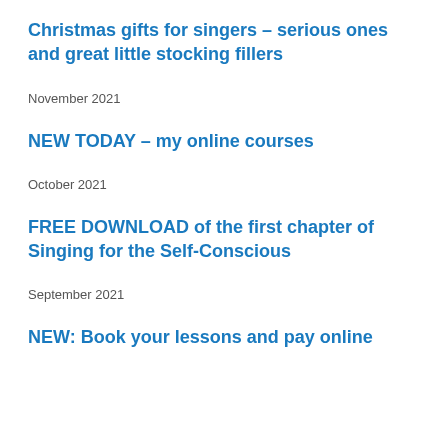Christmas gifts for singers – serious ones and great little stocking fillers
November 2021
NEW TODAY – my online courses
October 2021
FREE DOWNLOAD of the first chapter of Singing for the Self-Conscious
September 2021
NEW: Book your lessons and pay online